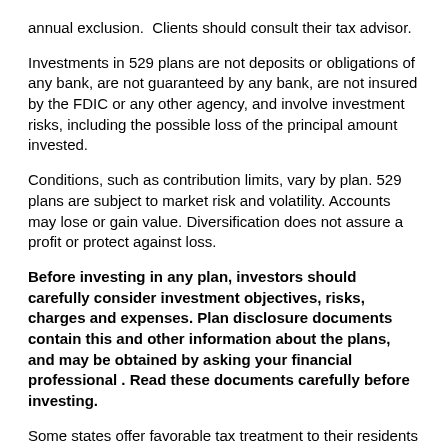annual exclusion.  Clients should consult their tax advisor.
Investments in 529 plans are not deposits or obligations of any bank, are not guaranteed by any bank, are not insured by the FDIC or any other agency, and involve investment risks, including the possible loss of the principal amount invested.
Conditions, such as contribution limits, vary by plan. 529 plans are subject to market risk and volatility. Accounts may lose or gain value. Diversification does not assure a profit or protect against loss.
Before investing in any plan, investors should carefully consider investment objectives, risks, charges and expenses. Plan disclosure documents contain this and other information about the plans, and may be obtained by asking your financial professional . Read these documents carefully before investing.
Some states offer favorable tax treatment to their residents only if they invest in the state's own plan. You should consult your tax advisor.